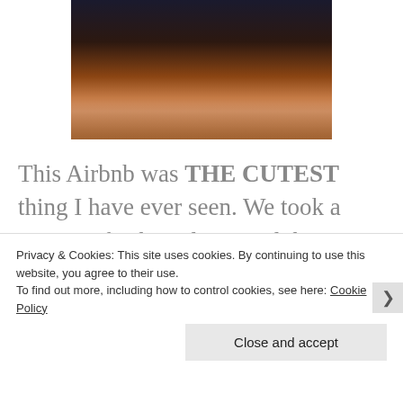[Figure (photo): Partial photo of a person wearing a brown/orange hat or clothing, dark background, bottom portion of the image visible]
This Airbnb was THE CUTEST thing I have ever seen. We took a nap. We freshened up. And then we headed back onto the town. Our goal was to go to The Bluebird Cafe, but that was everyone else's
Privacy & Cookies: This site uses cookies. By continuing to use this website, you agree to their use.
To find out more, including how to control cookies, see here: Cookie Policy
Close and accept